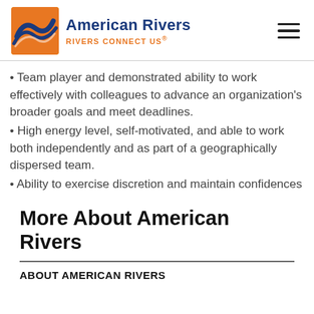[Figure (logo): American Rivers logo: yellow/orange square with blue wave graphic, beside bold blue text 'American Rivers' and orange tagline 'RIVERS CONNECT US®']
Team player and demonstrated ability to work effectively with colleagues to advance an organization's broader goals and meet deadlines.
High energy level, self-motivated, and able to work both independently and as part of a geographically dispersed team.
Ability to exercise discretion and maintain confidences
More About American Rivers
ABOUT AMERICAN RIVERS